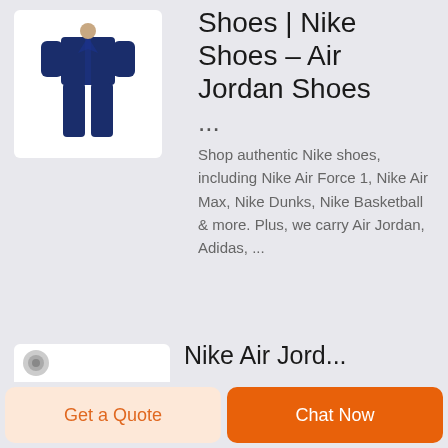[Figure (photo): Product image of a navy blue Nike tracksuit/outfit on a white background]
Shoes | Nike Shoes - Air Jordan Shoes
...
Shop authentic Nike shoes, including Nike Air Force 1, Nike Air Max, Nike Dunks, Nike Basketball & more. Plus, we carry Air Jordan, Adidas, ...
[Figure (photo): Partial thumbnail with small circular icon, partially visible at bottom left]
Nike Air Jord...
Get a Quote
Chat Now